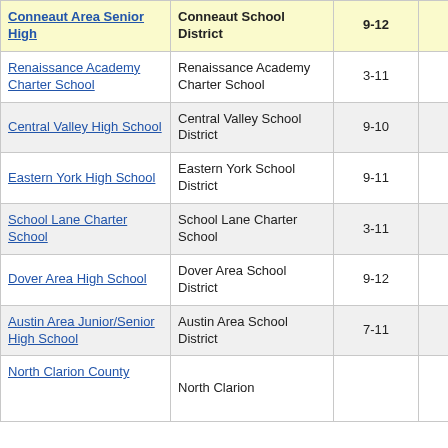| School | District | Grades | Value |  |
| --- | --- | --- | --- | --- |
| Conneaut Area Senior High | Conneaut School District | 9-12 | -1.8 |  |
| Renaissance Academy Charter School | Renaissance Academy Charter School | 3-11 | -5.6 |  |
| Central Valley High School | Central Valley School District | 9-10 | 5.3 |  |
| Eastern York High School | Eastern York School District | 9-11 | -5.8 |  |
| School Lane Charter School | School Lane Charter School | 3-11 | 2.6 |  |
| Dover Area High School | Dover Area School District | 9-12 | 7.7 |  |
| Austin Area Junior/Senior High School | Austin Area School District | 7-11 | 2.9 |  |
| North Clarion County | North Clarion |  |  |  |